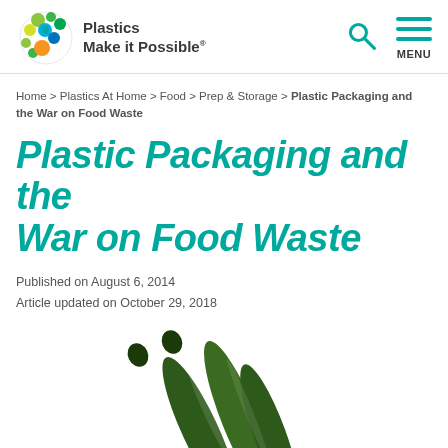[Figure (logo): Plastics Make it Possible logo with colorful circular icon and text]
Home > Plastics At Home > Food > Prep & Storage > Plastic Packaging and the War on Food Waste
Plastic Packaging and the War on Food Waste
Published on August 6, 2014
Article updated on October 29, 2018
SHARE
[Figure (photo): Cucumbers wrapped in plastic packaging on white background]